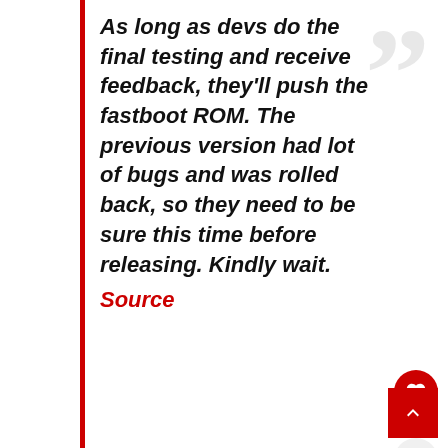As long as devs do the final testing and receive feedback, they'll push the fastboot ROM. The previous version had lot of bugs and was rolled back, so they need to be sure this time before releasing. Kindly wait.
Source